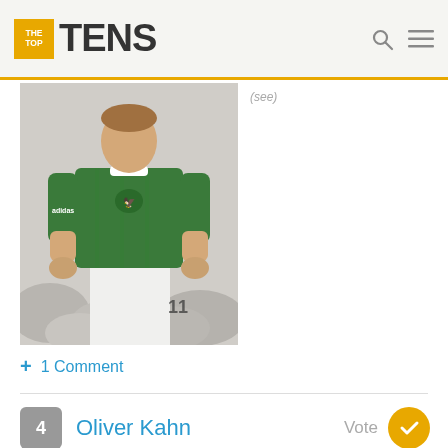THE TOP TENS
[Figure (photo): A soccer player wearing a green jersey with the German eagle crest and white shorts, number 11 visible in the background, running on a field during a match.]
+ 1 Comment
4  Oliver Kahn  Vote
[Figure (photo): Oliver Kahn, German former football goalkeeper, partially visible headshot.]
Oliver Rolf Kahn is a German former football goalkeeper. He started his